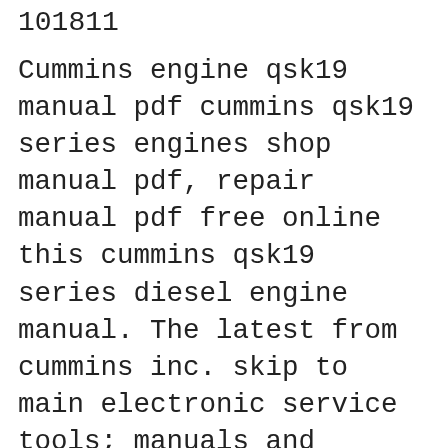101811
Cummins engine qsk19 manual pdf cummins qsk19 series engines shop manual pdf, repair manual pdf free online this cummins qsk19 series diesel engine manual. The latest from cummins inc. skip to main electronic service tools; manuals and technical documents; qsk19 recon. 492. 669. 1800. continuous. Cummins Service Manual Cummins QSK23 Series Engines Troubleshooting and Repair Manual $ 15.99 Add to cart; Cummins Qsk19 Series Diesel Engine Shop Repair Manual Case 60XT, 70XT Skid Steer Service Repair Manual PDF. 5.00 out of 5 $ 19.99; Case Ih вЂ¦